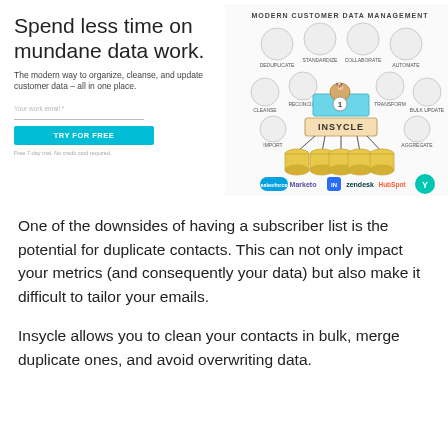Spend less time on mundane data work.
The modern way to organize, cleanse, and update customer data – all in one place.
[Figure (infographic): Insycle Modern Customer Data Management infographic showing features: Deduplicate, Standardize, Collaborate, Automate, Cleanse, Reconcile, Transform, Bulk Update, Import, Aggregate, with a central Insycle hub connected to database cylinders and CRM logos (Salesforce, Marketo, Intercom, Zendesk, HubSpot, Yext)]
One of the downsides of having a subscriber list is the potential for duplicate contacts. This can not only impact your metrics (and consequently your data) but also make it difficult to tailor your emails.
Insycle allows you to clean your contacts in bulk, merge duplicate ones, and avoid overwriting data.